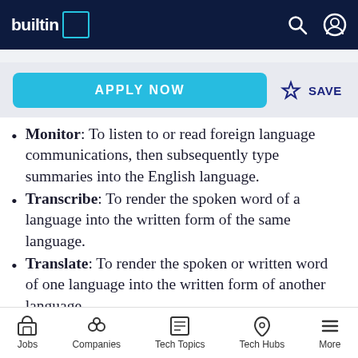builtin — navigation bar
APPLY NOW | SAVE
Monitor: To listen to or read foreign language communications, then subsequently type summaries into the English language.
Transcribe: To render the spoken word of a language into the written form of the same language.
Translate: To render the spoken or written word of one language into the written form of another language.
Interpret: To translate orally either consecutively or simultaneously from source
Jobs | Companies | Tech Topics | Tech Hubs | More